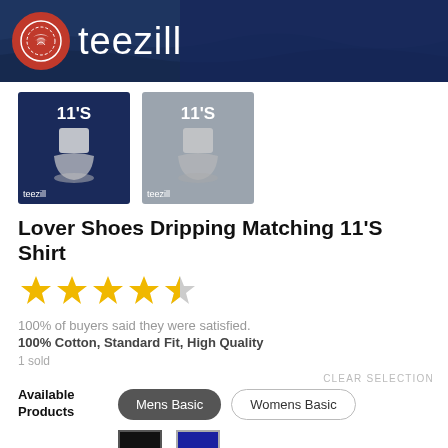[Figure (logo): Teezill brand banner with logo circle and 'teezill' text on dark navy background with ocean wave imagery]
[Figure (photo): Two product thumbnail images of '11'S' navy and gray t-shirts with shoe drip graphic, both labeled 'teezill']
Lover Shoes Dripping Matching 11'S Shirt
[Figure (other): 4.5 star rating displayed as gold stars]
100% of buyers said they were satisfied.
100% Cotton, Standard Fit, High Quality
1 sold
CLEAR SELECTION
Available Products
Mens Basic
Womens Basic
Color